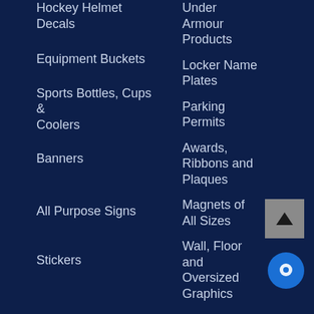Hockey Helmet Decals
Under Armour Products
Equipment Buckets
Locker Name Plates
Sports Bottles, Cups & Coolers
Parking Permits
Banners
Awards, Ribbons and Plaques
All Purpose Signs
Magnets of All Sizes
Stickers
Wall, Floor and Oversized Graphics
COVID19
Memorial, Tribute, Flag, Ribbon Decals
Transfers
Garment